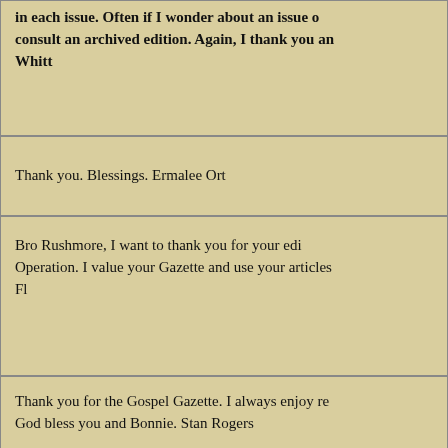in each issue. Often if I wonder about an issue o consult an archived edition. Again, I thank you an Whitt
Thank you. Blessings. Ermalee Ort
Bro Rushmore, I want to thank you for your edi Operation. I value your Gazette and use your articles Fl
Thank you for the Gospel Gazette. I always enjoy re God bless you and Bonnie. Stan Rogers
Hello your gospel gazette of this month is a wonde regards to Bonnie and Betty Choate. Love you all Je